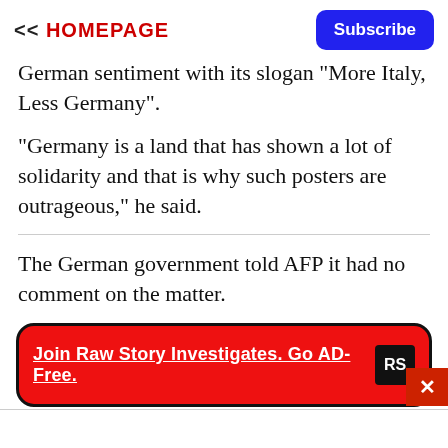<< HOMEPAGE | Subscribe
German sentiment with its slogan "More Italy, Less Germany".
"Germany is a land that has shown a lot of solidarity and that is why such posters are outrageous," he said.
The German government told AFP it had no comment on the matter.
[Figure (other): Red banner ad with text 'Join Raw Story Investigates. Go AD-Free.' and RS logo in black box]